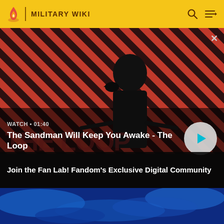MILITARY WIKI
[Figure (screenshot): Video promo panel for 'The Sandman Will Keep You Awake - The Loop' showing a dark-cloaked figure with a crow on a red diagonal-striped background. Includes WATCH • 01:40 label, video title, and a circular play button.]
WATCH • 01:40
The Sandman Will Keep You Awake - The Loop
Join the Fan Lab! Fandom's Exclusive Digital Community
[Figure (photo): Blue textured/watery background panel at the bottom of the page.]